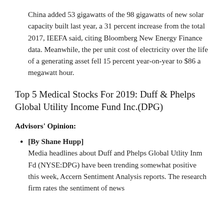China added 53 gigawatts of the 98 gigawatts of new solar capacity built last year, a 31 percent increase from the total 2017, IEEFA said, citing Bloomberg New Energy Finance data. Meanwhile, the per unit cost of electricity over the life of a generating asset fell 15 percent year-on-year to $86 a megawatt hour.
Top 5 Medical Stocks For 2019: Duff & Phelps Global Utility Income Fund Inc.(DPG)
Advisors' Opinion:
[By Shane Hupp] Media headlines about Duff and Phelps Global Utlity Inm Fd (NYSE:DPG) have been trending somewhat positive this week, Accern Sentiment Analysis reports. The research firm rates the sentiment of news